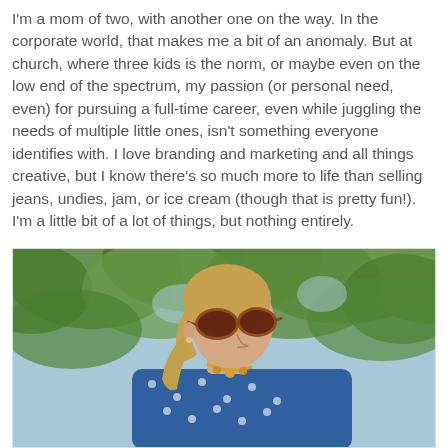I'm a mom of two, with another one on the way. In the corporate world, that makes me a bit of an anomaly. But at church, where three kids is the norm, or maybe even on the low end of the spectrum, my passion (or personal need, even) for pursuing a full-time career, even while juggling the needs of multiple little ones, isn't something everyone identifies with. I love branding and marketing and all things creative, but I know there's so much more to life than selling jeans, undies, jam, or ice cream (though that is pretty fun!). I'm a little bit of a lot of things, but nothing entirely.
[Figure (photo): A blonde woman with sunglasses in a blue polka-dot top, looking to the side, with green leafy trees in the background and a light blue sky.]